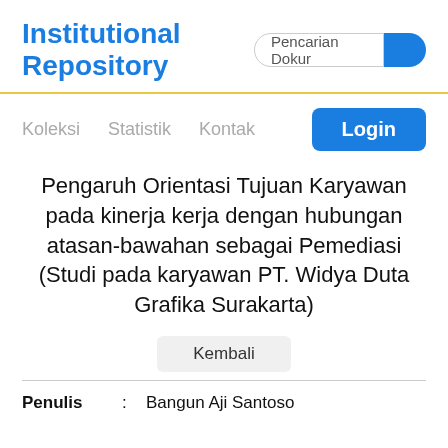Institutional Repository
Pengaruh Orientasi Tujuan Karyawan pada kinerja kerja dengan hubungan atasan-bawahan sebagai Pemediasi (Studi pada karyawan PT. Widya Duta Grafika Surakarta)
Kembali
Penulis : Bangun Aji Santoso